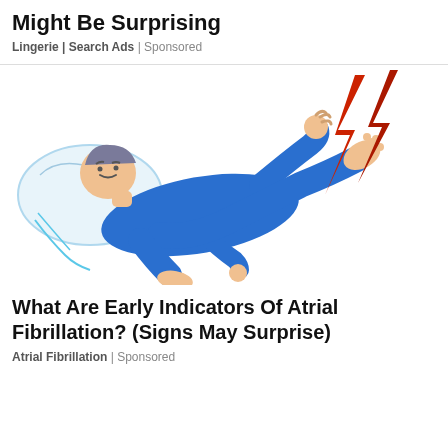Might Be Surprising
Lingerie | Search Ads | Sponsored
[Figure (illustration): Illustration of a person lying on a pillow in blue pajamas, body jerking with legs raised, red lightning bolt striking the leg, depicting atrial fibrillation or a medical episode.]
What Are Early Indicators Of Atrial Fibrillation? (Signs May Surprise)
Atrial Fibrillation | Sponsored